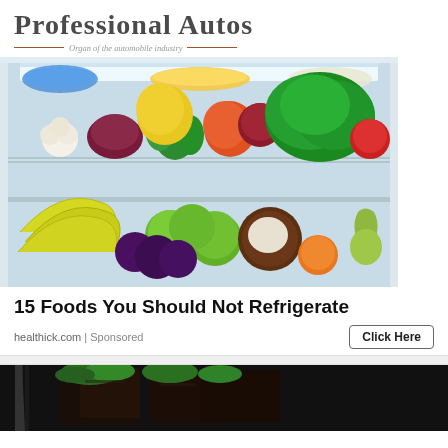Professional Autos — Organ of the automobile industry —
[Figure (photo): Open refrigerator shelf with colorful vegetables and fruits: green lettuce, yellow and orange bell peppers, onions, garlic, dill, bananas, green apples, plums, coconut, pear, tomatoes]
15 Foods You Should Not Refrigerate
healthick.com | Sponsored
[Figure (photo): Dark food items on a plate, partially visible, appears to be chocolate or dark-colored food with green garnish]